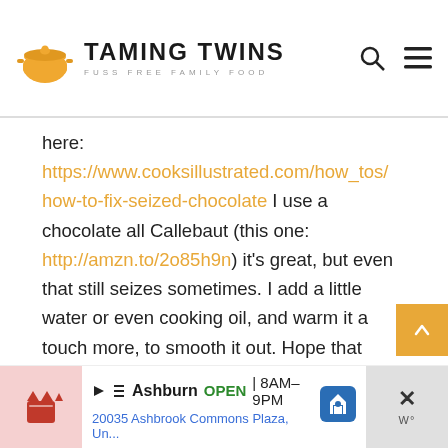[Figure (logo): Taming Twins logo with pot icon and tagline FUSS FREE FAMILY FOOD]
here: https://www.cooksillustrated.com/how_tos/how-to-fix-seized-chocolate I use a chocolate all Callebaut (this one: http://amzn.to/2o85h9n) it's great, but even that still seizes sometimes. I add a little water or even cooking oil, and warm it a touch more, to smooth it out. Hope that helps!
[Figure (infographic): Advertisement bar: Smoothie King Ashburn OPEN 8AM-9PM 20035 Ashbrook Commons Plaza with map pin icon and close/weather widget]